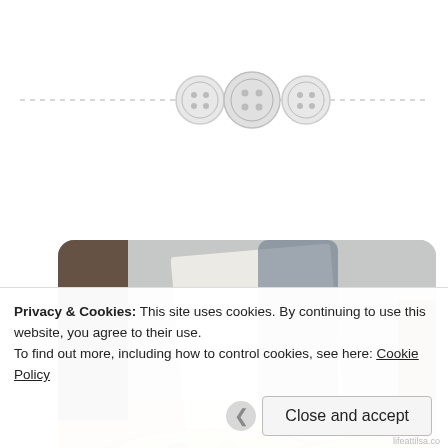[Figure (illustration): Decorative top area with a dashed horizontal line and three button/sewing-button icons centered on the line, on white background.]
[Figure (photo): Photograph of two savory pies/quiches in aluminum foil pans on a table with a burlap/woven cloth, with green and red fillings visible. Background is blurred with white paper and wooden elements.]
Privacy & Cookies: This site uses cookies. By continuing to use this website, you agree to their use.
To find out more, including how to control cookies, see here: Cookie Policy
Close and accept
lifeattilsa.co